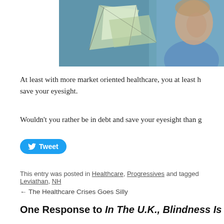[Figure (illustration): Partial painting or illustration showing a person in a blue shirt with abstract colorful shapes in background, cropped at top]
At least with more market oriented healthcare, you at least have a chance to save your eyesight.
Wouldn't you rather be in debt and save your eyesight than g…
[Figure (other): Tweet button with Twitter bird icon]
This entry was posted in Healthcare, Progressives and tagged Leviathan, NH…
← The Healthcare Crises Goes Silly
One Response to In The U.K., Blindness Is…